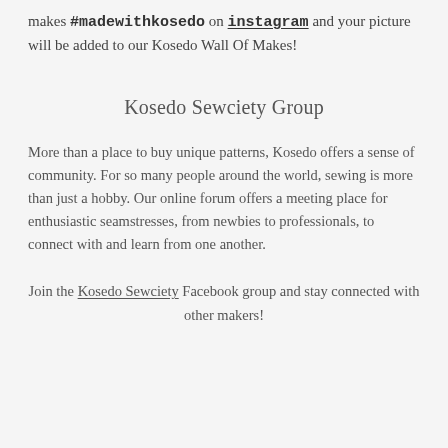makes #madewithkosedo on instagram and your picture will be added to our Kosedo Wall Of Makes!
Kosedo Sewciety Group
More than a place to buy unique patterns, Kosedo offers a sense of community. For so many people around the world, sewing is more than just a hobby. Our online forum offers a meeting place for enthusiastic seamstresses, from newbies to professionals, to connect with and learn from one another.
Join the Kosedo Sewciety Facebook group and stay connected with other makers!